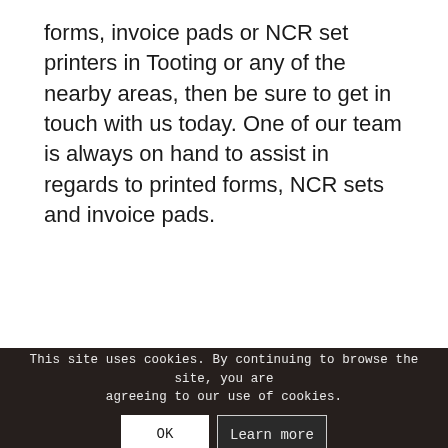forms, invoice pads or NCR set printers in Tooting or any of the nearby areas, then be sure to get in touch with us today. One of our team is always on hand to assist in regards to printed forms, NCR sets and invoice pads.
[Figure (photo): Red background section with a horizontal strip of photos/pages showing printed forms and invoice pads]
This site uses cookies. By continuing to browse the site, you are agreeing to our use of cookies.